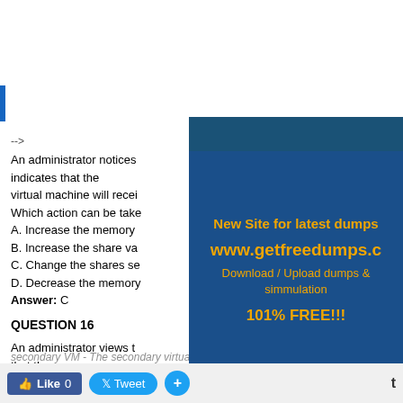-->
An administrator notices indicates that the virtual machine will receive Which action can be taken
A. Increase the memory
B. Increase the share value
C. Change the shares setting
D. Decrease the memory
Answer: C
QUESTION 16
An administrator views that the current status is Not Protected. What are two vSphere Fault Tolerance states that would cause the virtual machine to not be protected? (Choose two.)
A. Stopped - Fault Tolerance has been stopped on the secondary virtual machine
B. secondary VM - The secondary virtual machine is running
[Figure (infographic): Ad overlay for www.getfreedumps.com with blue background and orange text. Text reads: New Site for latest dumps, www.getfreedumps.com, Download / Upload dumps & simmulation, 101% FREE!!!]
Like 0   Tweet   +   t